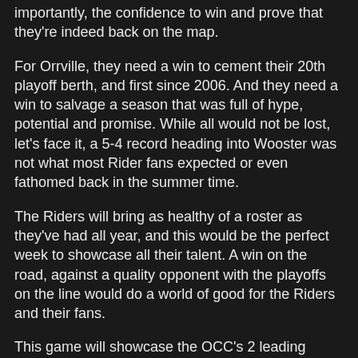importantly, the confidence to win and prove that they're indeed back on the map.
For Orrville, they need a win to cement their 20th playoff berth, and first since 2006. And they need a win to salvage a season that was full of hype, potential and promise. While all would not be lost, let's face it, a 5-4 record heading into Wooster was not what most Rider fans expected or even fathomed back in the summer time.
The Riders will bring as healthy of a roster as they've had all year, and this would be the perfect week to showcase all their talent. A win on the road, against a quality opponent with the playoffs on the line would do a world of good for the Riders and their fans.
This game will showcase the OCC's 2 leading rushers, Clear Fork senior Jordan McCune and Orrville junior Tre Simpson. Between the 2, they have nearly 2000 rushing yards and 35 TD's running the ball. The two also have a combined 458 receiving yards.
McCune has 1 of 116 yd on the ground (10 TD), 244 receiving